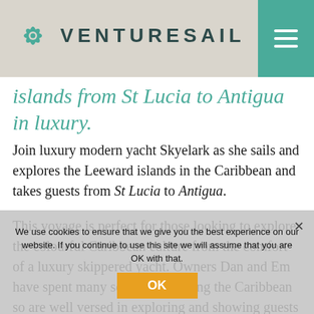VENTURESAIL
islands from St Lucia to Antigua in luxury.
Join luxury modern yacht Skyelark as she sails and explores the Leeward islands in the Caribbean and takes guests from St Lucia to Antigua.
This voyage is perfect for those looking to explore the colourful Caribbean culture from the comfort of a luxury skippered yacht. Owners Dan and Em have spent many seasons exploring the Caribbean so are well versed in exploring and showing guests the more secluded side of the Caribbean, away from the tourist hustle and bustle.
We use cookies to ensure that we give you the best experience on our website. If you continue to use this site we will assume that you are OK with that.